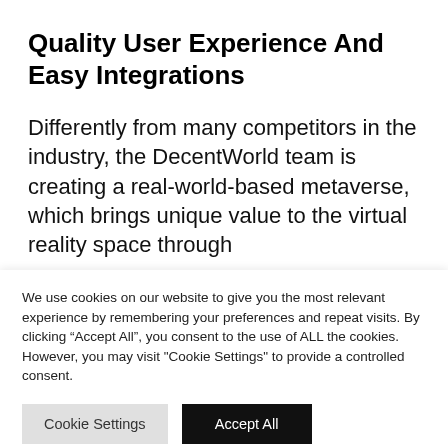Quality User Experience And Easy Integrations
Differently from many competitors in the industry, the DecentWorld team is creating a real-world-based metaverse, which brings unique value to the virtual reality space through
We use cookies on our website to give you the most relevant experience by remembering your preferences and repeat visits. By clicking “Accept All”, you consent to the use of ALL the cookies. However, you may visit "Cookie Settings" to provide a controlled consent.
Cookie Settings   Accept All
Read our Cookie Statement